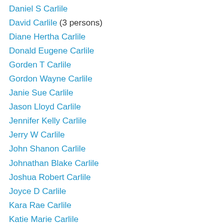Daniel S Carlile
David Carlile (3 persons)
Diane Hertha Carlile
Donald Eugene Carlile
Gorden T Carlile
Gordon Wayne Carlile
Janie Sue Carlile
Jason Lloyd Carlile
Jennifer Kelly Carlile
Jerry W Carlile
John Shanon Carlile
Johnathan Blake Carlile
Joshua Robert Carlile
Joyce D Carlile
Kara Rae Carlile
Katie Marie Carlile
Leighanne Marie Carlile
Linda C Carlile